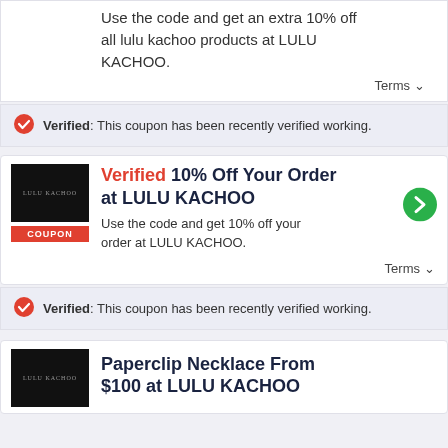Use the code and get an extra 10% off all lulu kachoo products at LULU KACHOO.
Terms
Verified: This coupon has been recently verified working.
Verified 10% Off Your Order at LULU KACHOO
Use the code and get 10% off your order at LULU KACHOO.
Terms
Verified: This coupon has been recently verified working.
Paperclip Necklace From $100 at LULU KACHOO